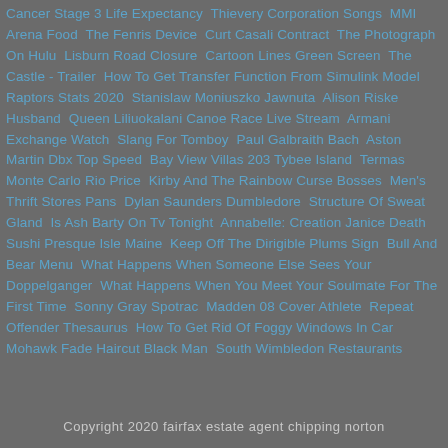Cancer Stage 3 Life Expectancy  Thievery Corporation Songs  MMI Arena Food  The Fenris Device  Curt Casali Contract  The Photograph On Hulu  Lisburn Road Closure  Cartoon Lines Green Screen  The Castle - Trailer  How To Get Transfer Function From Simulink Model  Raptors Stats 2020  Stanislaw Moniuszko Jawnuta  Alison Riske Husband  Queen Liliuokalani Canoe Race Live Stream  Armani Exchange Watch  Slang For Tomboy  Paul Galbraith Bach  Aston Martin Dbx Top Speed  Bay View Villas 203 Tybee Island  Termas Monte Carlo Rio Price  Kirby And The Rainbow Curse Bosses  Men's Thrift Stores Pans  Dylan Saunders Dumbledore  Structure Of Sweat Gland  Is Ash Barty On Tv Tonight  Annabelle: Creation Janice Death  Sushi Presque Isle Maine  Keep Off The Dirigible Plums Sign  Bull And Bear Menu  What Happens When Someone Else Sees Your Doppelganger  What Happens When You Meet Your Soulmate For The First Time  Sonny Gray Spotrac  Madden 08 Cover Athlete  Repeat Offender Thesaurus  How To Get Rid Of Foggy Windows In Car  Mohawk Fade Haircut Black Man  South Wimbledon Restaurants
Copyright 2020 fairfax estate agent chipping norton